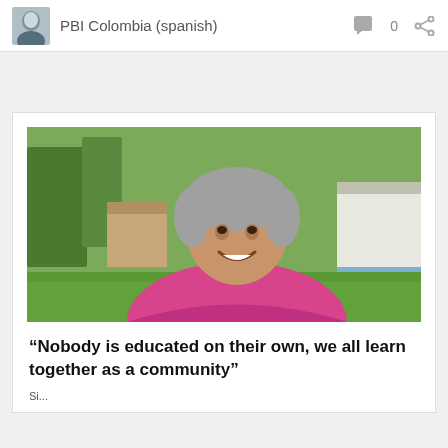PBI Colombia (spanish)   0
[Figure (photo): A smiling woman with grey hair wearing a pink top, photographed outdoors in a rural setting with green grass, trees, and simple buildings in the background.]
“Nobody is educated on their own, we all learn together as a community”
Si...